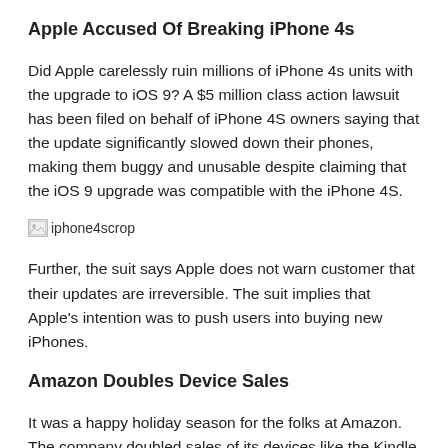Apple Accused Of Breaking iPhone 4s
Did Apple carelessly ruin millions of iPhone 4s units with the upgrade to iOS 9?  A $5 million class action lawsuit has been filed on behalf of iPhone 4S owners saying that the update significantly slowed down their phones, making them buggy and unusable despite claiming that the iOS 9 upgrade was compatible with the iPhone 4S.
[Figure (other): Broken/missing image placeholder labeled 'iphone4scrop']
Further, the suit says Apple does not warn customer that their updates are irreversible. The suit implies that Apple's intention was to push users into buying new iPhones.
Amazon Doubles Device Sales
It was a happy holiday season for the folks at Amazon. The company doubled sales of its devices like the Kindle